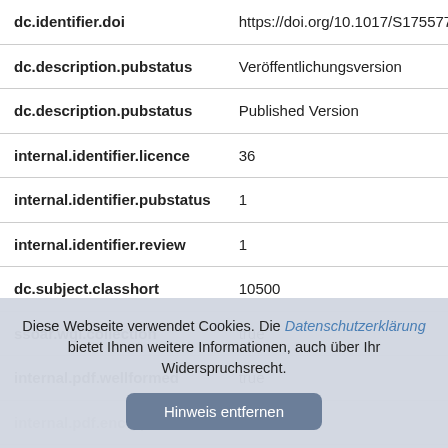| Field | Value |
| --- | --- |
| dc.identifier.doi | https://doi.org/10.1017/S1755773 |
| dc.description.pubstatus | Veröffentlichungsversion |
| dc.description.pubstatus | Published Version |
| internal.identifier.licence | 36 |
| internal.identifier.pubstatus | 1 |
| internal.identifier.review | 1 |
| dc.subject.classhort | 10500 |
| ssoar.wgl.collection | true |
| internal.pdf.wellformed | true |
| internal.pdf.encrypted | false |
Diese Webseite verwendet Cookies. Die Datenschutzerklärung bietet Ihnen weitere Informationen, auch über Ihr Widerspruchsrecht.
Hinweis entfernen